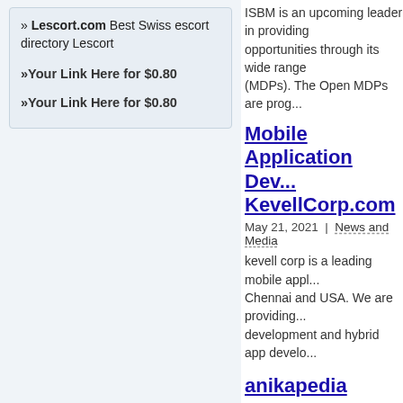» Lescort.com Best Swiss escort directory Lescort
»Your Link Here for $0.80
»Your Link Here for $0.80
ISBM is an upcoming leader in providing opportunities through its wide range (MDPs). The Open MDPs are prog...
Mobile Application Dev... KevellCorp.com
May 21, 2021 | News and Media
kevell corp is a leading mobile appl... Chennai and USA. We are providing... development and hybrid app develo...
anikapedia
Feb 11, 2022 | News and Media
I'm Monte and I live with my husban... south part. My hobbies are Fossil h...
Read more
Best Digital Marketing i...
Feb 15, 2022 | News and Media
Join Now at Best Digital Marketing... Course with 10 Years of Real-Time...
Polymer Modified Bitu...